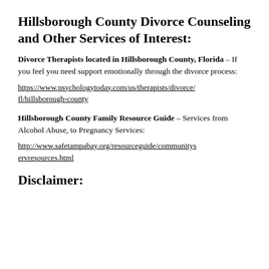Hillsborough County Divorce Counseling and Other Services of Interest:
Divorce Therapists located in Hillsborough County, Florida – If you feel you need support emotionally through the divorce process:
https://www.psychologytoday.com/us/therapists/divorce/fl/hillsborough-county
Hillsborough County Family Resource Guide – Services from Alcohol Abuse, to Pregnancy Services:
http://www.safetampabay.org/resourceguide/communityservresources.html
Disclaimer: